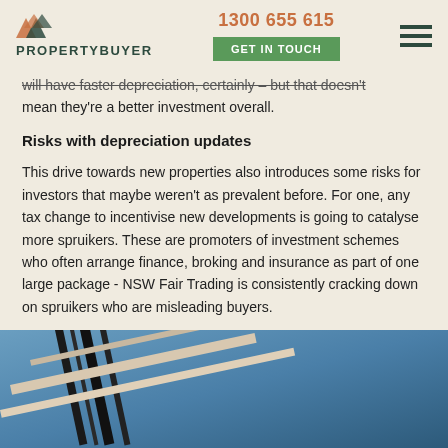PROPERTYBUYER | 1300 655 615 | GET IN TOUCH
will have faster depreciation, certainly – but that doesn't mean they're a better investment overall.
Risks with depreciation updates
This drive towards new properties also introduces some risks for investors that maybe weren't as prevalent before. For one, any tax change to incentivise new developments is going to catalyse more spruikers. These are promoters of investment schemes who often arrange finance, broking and insurance as part of one large package - NSW Fair Trading is consistently cracking down on spruikers who are misleading buyers.
[Figure (photo): Close-up photo of a building rooftop or architectural detail against a blue sky, showing dark metal or structural lines at an angle.]